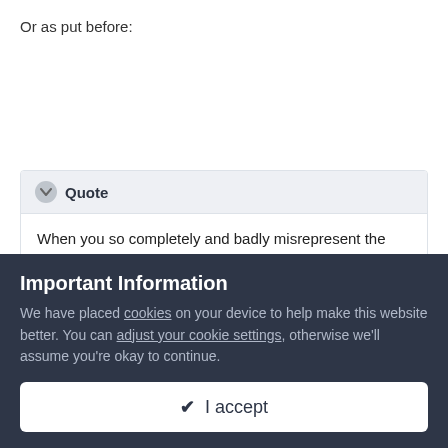Or as put before:
Quote
When you so completely and badly misrepresent the postings of others, your claims of reasonableness lose credibility.
If fewer gun control advocates illustrated their claims to reliable
Important Information
We have placed cookies on your device to help make this website better. You can adjust your cookie settings, otherwise we'll assume you're okay to continue.
✔ I accept